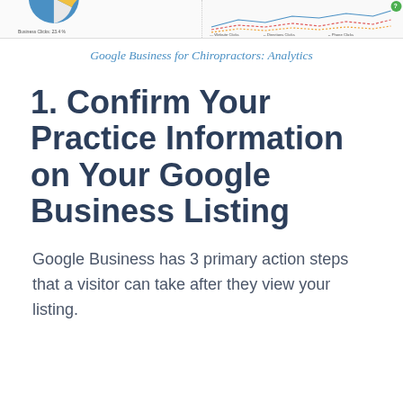[Figure (screenshot): Screenshot strip showing two analytics panels: left panel shows a partial pie chart with a legend at bottom, right panel shows a line chart with a legend showing Website Clicks, Directions Clicks, Phone Clicks, and a green help badge in top-right corner.]
Google Business for Chiropractors: Analytics
1. Confirm Your Practice Information on Your Google Business Listing
Google Business has 3 primary action steps that a visitor can take after they view your listing.